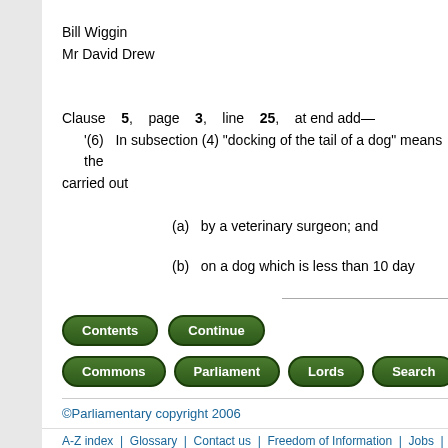Bill Wiggin
Mr David Drew
Clause 5, page 3, line 25, at end add—
'(6)  In subsection (4) "docking of the tail of a dog" means the carried out
(a)  by a veterinary surgeon; and
(b)  on a dog which is less than 10 day
[Figure (other): Navigation buttons: Contents, Continue, Commons, Parliament, Lords, Search]
©Parliamentary copyright 2006
A-Z index | Glossary | Contact us | Freedom of Information | Jobs | Using this w